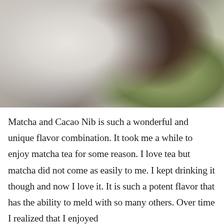[Figure (photo): Close-up photo of a white plate with dark cacao nibs and green matcha powder, with a spoon visible in the lower right portion of the image.]
Matcha and Cacao Nib is such a wonderful and unique flavor combination. It took me a while to enjoy matcha tea for some reason. I love tea but matcha did not come as easily to me. I kept drinking it though and now I love it. It is such a potent flavor that has the ability to meld with so many others. Over time I realized that I enjoyed